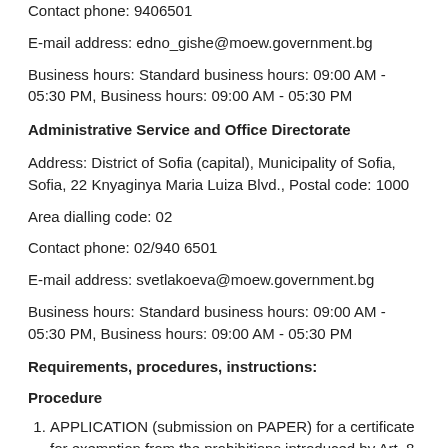Contact phone: 9406501
E-mail address: edno_gishe@moew.government.bg
Business hours: Standard business hours: 09:00 AM - 05:30 PM, Business hours: 09:00 AM - 05:30 PM
Administrative Service and Office Directorate
Address: District of Sofia (capital), Municipality of Sofia, Sofia, 22 Knyaginya Maria Luiza Blvd., Postal code: 1000
Area dialling code: 02
Contact phone: 02/940 6501
E-mail address: svetlakoeva@moew.government.bg
Business hours: Standard business hours: 09:00 AM - 05:30 PM, Business hours: 09:00 AM - 05:30 PM
Requirements, procedures, instructions:
Procedure
APPLICATION (submission on PAPER) for a certificate for exemption from the prohibitions introduced by Art. 8, para. 1 (for legal acquisition, trade) and a transport certificate under Art. 9 of Regulation (EC) No 338/97 for